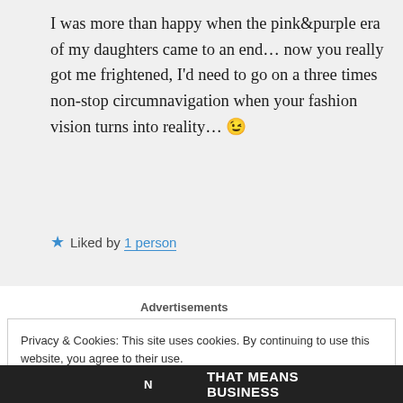I was more than happy when the pink&purple era of my daughters came to an end… now you really got me frightened, I'd need to go on a three times non-stop circumnavigation when your fashion vision turns into reality… 😉
★ Liked by 1 person
Advertisements
Privacy & Cookies: This site uses cookies. By continuing to use this website, you agree to their use.
To find out more, including how to control cookies, see here: Cookie Policy
Close and accept